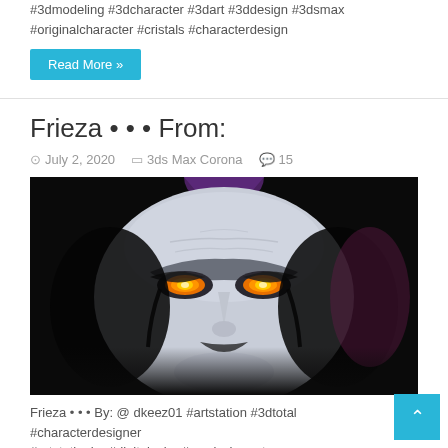#3dmodeling #3dcharacter #3dart #3ddesign #3dsmax #originalcharacter #cristals #characterdesign
Read More »
Frieza • • • From:
July 2, 2020   3ds Max Corona   15
[Figure (photo): 3D rendered close-up of Frieza character from Dragon Ball, white alien face with glowing orange eyes, black markings, dark purple head protrusion, black background]
Frieza • • • By: @ dkeez01 #artstation #3dtotal #characterdesigner #artstationhq #digitalcolor #comiccharacter #characterdesign